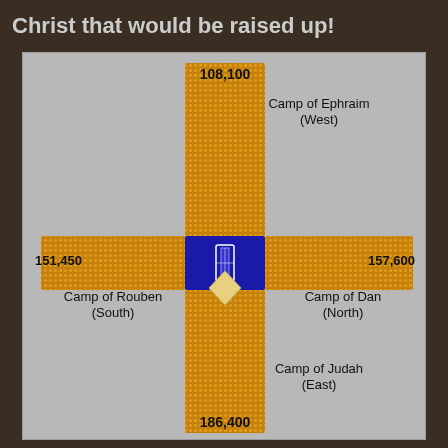Christ that would be raised up!
[Figure (infographic): Cross-shaped diagram showing the four camps of Israel arranged in a cross formation around a central blue tabernacle. North arm labeled 'Camp of Ephraim (West)' with 108,100; South arm labeled 'Camp of Judah (East)' with 186,400; West arm labeled 'Camp of Reuben (South)' with 151,450; East arm labeled 'Camp of Dan (North)' with 157,600. Arms filled with golden/orange dot-grid patterns representing people. Center is a blue square with a small tabernacle symbol.]